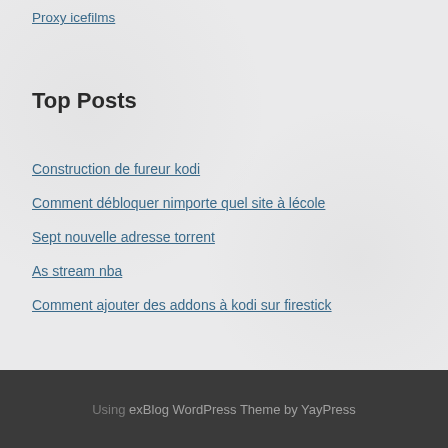Proxy icefilms
Top Posts
Construction de fureur kodi
Comment débloquer nimporte quel site à lécole
Sept nouvelle adresse torrent
As stream nba
Comment ajouter des addons à kodi sur firestick
Using exBlog WordPress Theme by YayPress